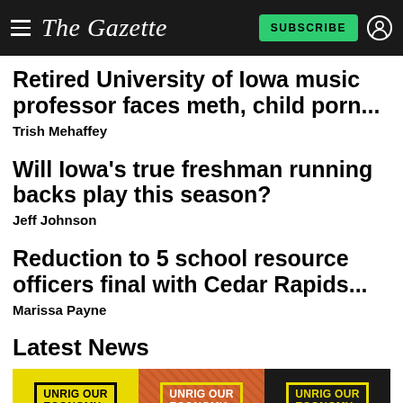The Gazette
Retired University of Iowa music professor faces meth, child porn...
Trish Mehaffey
Will Iowa’s true freshman running backs play this season?
Jeff Johnson
Reduction to 5 school resource officers final with Cedar Rapids...
Marissa Payne
Latest News
[Figure (infographic): Three 'Unrig Our Economy' advertisement banners side by side — yellow background, orange/textured background, and dark background versions]